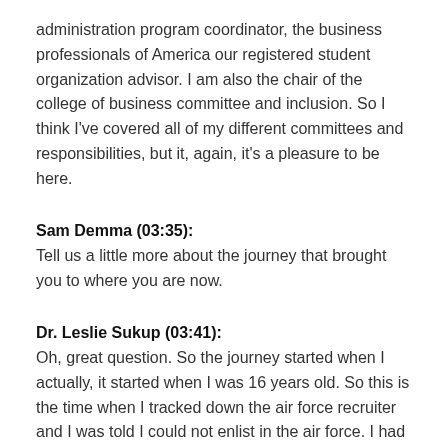administration program coordinator, the business professionals of America our registered student organization advisor. I am also the chair of the college of business committee and inclusion. So I think I've covered all of my different committees and responsibilities, but it, again, it's a pleasure to be here.
Sam Demma (03:35): Tell us a little more about the journey that brought you to where you are now.
Dr. Leslie Sukup (03:41): Oh, great question. So the journey started when I actually, it started when I was 16 years old. So this is the time when I tracked down the air force recruiter and I was told I could not enlist in the air force. I had to wait a year. So I waited a year and tracked them down again, enlisted in the air force. And I thought when I graduated